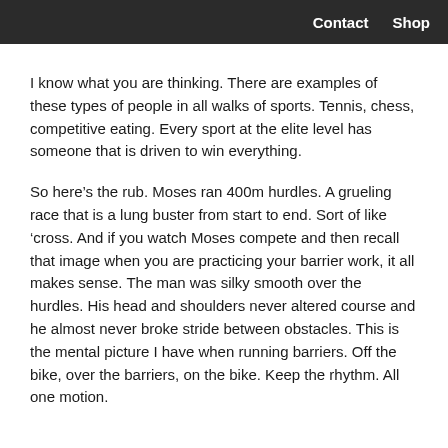Contact  Shop
I know what you are thinking. There are examples of these types of people in all walks of sports. Tennis, chess, competitive eating. Every sport at the elite level has someone that is driven to win everything.
So here’s the rub. Moses ran 400m hurdles. A grueling race that is a lung buster from start to end. Sort of like ‘cross. And if you watch Moses compete and then recall that image when you are practicing your barrier work, it all makes sense. The man was silky smooth over the hurdles. His head and shoulders never altered course and he almost never broke stride between obstacles. This is the mental picture I have when running barriers. Off the bike, over the barriers, on the bike. Keep the rhythm. All one motion.